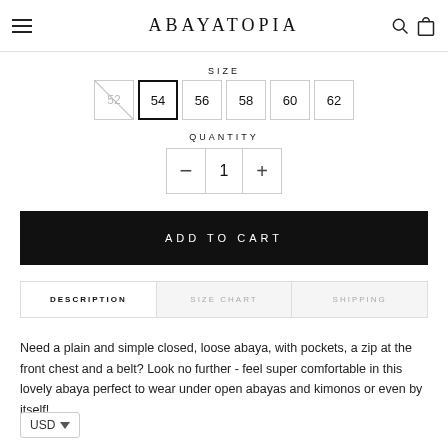ABAYATOPIA
SIZE
52  54  56  58  60  62
QUANTITY
− 1 +
ADD TO CART
DESCRIPTION  SIZE CHART  SHIPPING
Need a plain and simple closed, loose abaya, with pockets, a zip at the front chest and a belt? Look no further - feel super comfortable in this lovely abaya perfect to wear under open abayas and kimonos or even by itself!